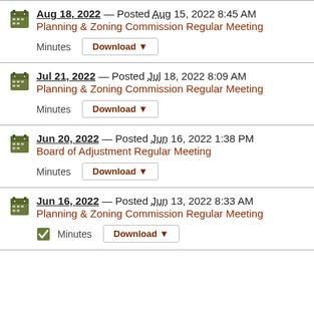Aug 18, 2022 — Posted Aug 15, 2022 8:45 AM
Planning & Zoning Commission Regular Meeting
Minutes Download
Jul 21, 2022 — Posted Jul 18, 2022 8:09 AM
Planning & Zoning Commission Regular Meeting
Minutes Download
Jun 20, 2022 — Posted Jun 16, 2022 1:38 PM
Board of Adjustment Regular Meeting
Minutes Download
Jun 16, 2022 — Posted Jun 13, 2022 8:33 AM
Planning & Zoning Commission Regular Meeting
Minutes Download